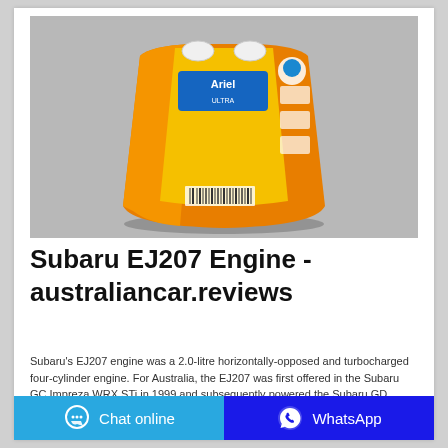[Figure (photo): Orange bag of laundry detergent powder (Ariel or similar brand) on grey background, viewed from the back/side, showing two white circular handles at top]
Subaru EJ207 Engine - australiancar.reviews
Subaru's EJ207 engine was a 2.0-litre horizontally-opposed and turbocharged four-cylinder engine. For Australia, the EJ207 was first offered in the Subaru GC Impreza WRX STi in 1999 and subsequently powered the Subaru GD Impreza WRX STi.
Chat online | WhatsApp